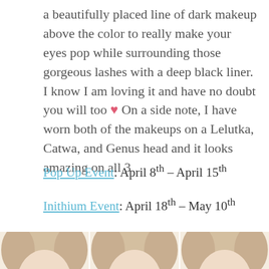a beautifully placed line of dark makeup above the color to really make your eyes pop while surrounding those gorgeous lashes with a deep black liner. I know I am loving it and have no doubt you will too ♥ On a side note, I have worn both of the makeups on a Lelutka, Catwa, and Genus head and it looks amazing on all 3
Pop Up Event: April 8th – April 15th
Inithium Event: April 18th – May 10th
[Figure (photo): Three side-by-side photos of blonde female avatar faces with colorful eye makeup — left with pink/red eyeshadow, center with purple/pink eyeshadow, right with yellow/green eyeshadow, each with beaded necklaces]